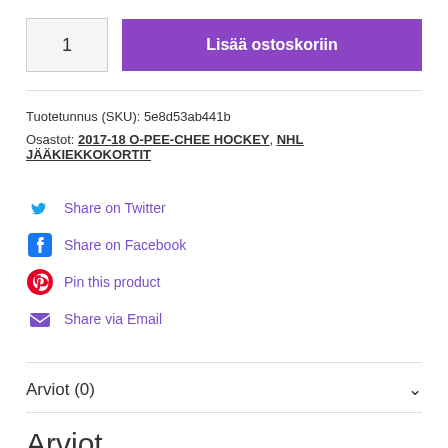1 | Lisää ostoskoriin
Tuotetunnus (SKU): 5e8d53ab441b
Osastot: 2017-18 O-PEE-CHEE HOCKEY, NHL JÄÄKIEKKOKORTIT
Share on Twitter
Share on Facebook
Pin this product
Share via Email
Arviot (0)
Arviot